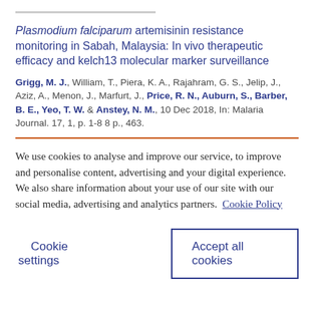Plasmodium falciparum artemisinin resistance monitoring in Sabah, Malaysia: In vivo therapeutic efficacy and kelch13 molecular marker surveillance
Grigg, M. J., William, T., Piera, K. A., Rajahram, G. S., Jelip, J., Aziz, A., Menon, J., Marfurt, J., Price, R. N., Auburn, S., Barber, B. E., Yeo, T. W. & Anstey, N. M., 10 Dec 2018, In: Malaria Journal. 17, 1, p. 1-8 8 p., 463.
We use cookies to analyse and improve our service, to improve and personalise content, advertising and your digital experience. We also share information about your use of our site with our social media, advertising and analytics partners.  Cookie Policy
Cookie settings
Accept all cookies